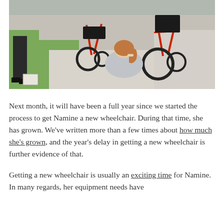[Figure (photo): Outdoor photo showing a girl with a red ponytail, viewed from behind, crouching near two red wheelchairs on a sidewalk/driveway. Another person stands to the left. Green grass and gravel are visible in the background.]
Next month, it will have been a full year since we started the process to get Namine a new wheelchair. During that time, she has grown. We've written more than a few times about how much she's grown, and the year's delay in getting a new wheelchair is further evidence of that.
Getting a new wheelchair is usually an exciting time for Namine. In many regards, her equipment needs have